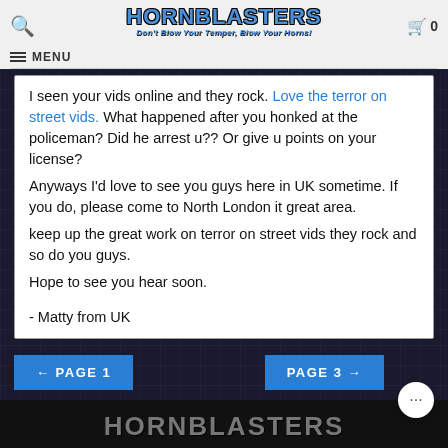[Figure (logo): HornBlasters logo with train graphic, tagline 'Don't Blow Your Temper, Blow Your Horns!']
I seen your vids online and they rock. Love the terror on street vids. What happened after you honked at the policeman? Did he arrest u?? Or give u points on your license?
Anyways I'd love to see you guys here in UK sometime. If you do, please come to North London it great area.
keep up the great work on terror on street vids they rock and so do you guys.
Hope to see you hear soon.

- Matty from UK
← PAGE 1
PAGE 3 →
[Figure (logo): HornBlasters footer logo in gray on black background]